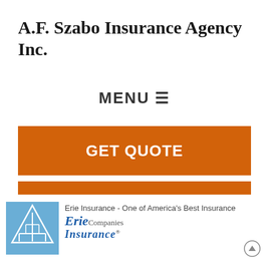A.F. Szabo Insurance Agency Inc.
MENU ☰
GET QUOTE
REQUEST CERTIFICATE
[Figure (logo): Erie Insurance logo with building/mountain icon and text 'Erie Insurance']
Erie Insurance - One of America's Best Insurance Companies